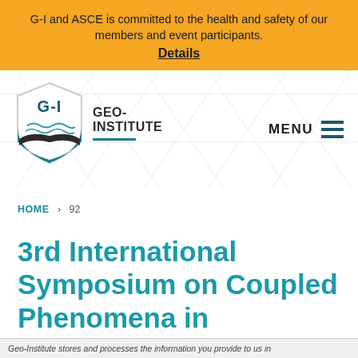G-I and ASCE is committed to the health and safety of our members and event participants. Details
[Figure (logo): Geo-Institute ASCE shield logo with G-I text, landscape/soil graphic, and GEO-INSTITUTE text beside it]
MENU
HOME > 92
3rd International Symposium on Coupled Phenomena in
Geo-Institute stores and processes the information you provide to us in